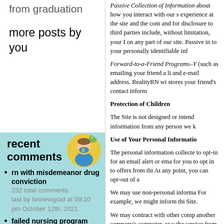from graduation
more posts by you
recent comments
rn with misdemeanor drug conviction
232 total comments
last by lvnnewgrad at 09:10 pm October 12th, 2021
failed nursing program
Passive Collection of Information about how you interact with our s experience at the site and the com and for disclosure to third parties include, without limitation, your I on any part of our site. Passive in to your personally identifiable inf
Forward-to-a-Friend Programs–Y (such as emailing your friend a li and e-mail address. RealityRN wi stores your friend's contact infor
Protection of Children
The Site is not designed or intend information from any person we k
Use of Your Personal Informatio
The personal information collecte to opt-in for an email alert or em for you to opt in to offers from th At any point, you can opt-out of a
We may use non-personal informa For example, we might inform thi Site.
We may contract with other comp another company's computer, or v the service from other computer